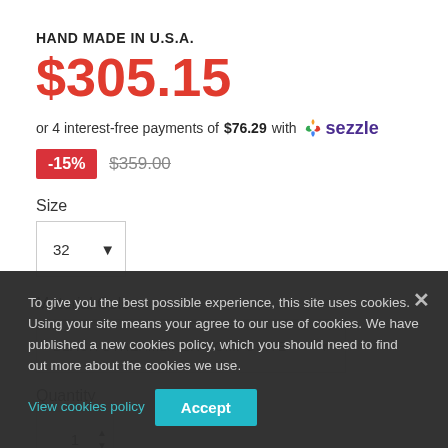HAND MADE IN U.S.A.
$305.15
or 4 interest-free payments of $76.29 with sezzle
-15%  $359.00
Size
32
Material Color
BLACK STREAMLINER COMPOSITE
Quantity
To give you the best possible experience, this site uses cookies. Using your site means your agree to our use of cookies. We have published a new cookies policy, which you should need to find out more about the cookies we use. View cookies policy
Accept